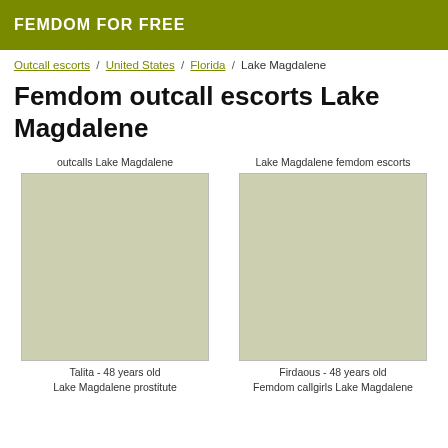FEMDOM FOR FREE
Outcall escorts / United States / Florida / Lake Magdalene
Femdom outcall escorts Lake Magdalene
outcalls Lake Magdalene
Lake Magdalene femdom escorts
[Figure (photo): Photo placeholder for Talita]
[Figure (photo): Photo placeholder for Firdaous]
Talita - 48 years old
Firdaous - 48 years old
Lake Magdalene prostitute
Femdom callgirls Lake Magdalene